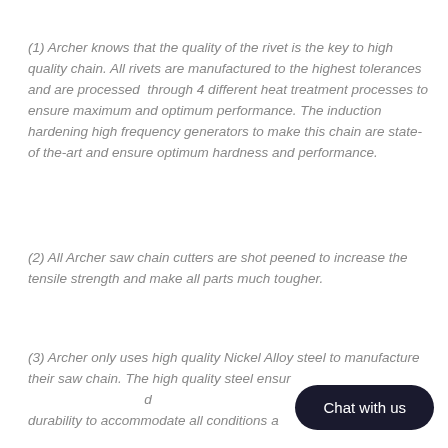(1) Archer knows that the quality of the rivet is the key to high quality chain. All rivets are manufactured to the highest tolerances and are processed through 4 different heat treatment processes to ensure maximum and optimum performance. The induction hardening high frequency generators to make this chain are state-of the-art and ensure optimum hardness and performance.
(2) All Archer saw chain cutters are shot peened to increase the tensile strength and make all parts much tougher.
(3) Archer only uses high quality Nickel Alloy steel to manufacture their saw chain. The high quality steel ensur[...] durability to accommodate all conditions a[...]